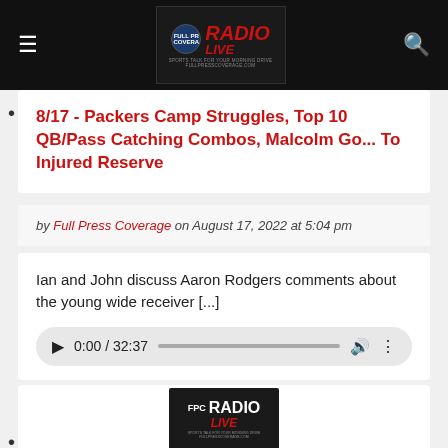Full Press Coverage Radio Live - website header with hamburger menu, logo, and search icon
8/17 - Packers Camp Struggles, Top 10 QB/Pass Catching Combos, Malcolm Go... To Injured Reserve
by Full Press Coverage on August 17, 2022 at 5:04 pm
Ian and John discuss Aaron Rodgers comments about the young wide receiver [...]
[Figure (other): Audio player with play button, time display 0:00 / 32:37, progress bar, volume icon, and more options icon]
[Figure (logo): FPC Radio Live logo - sports talk for your morning drive, fullpresscoverage.com]